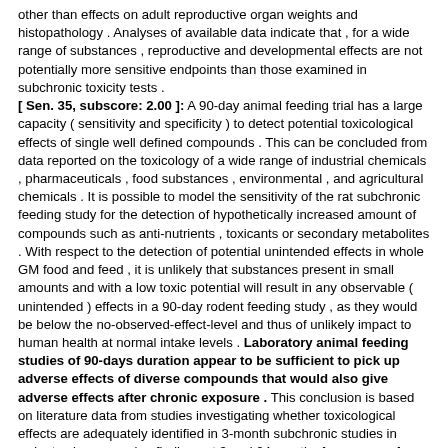other than effects on adult reproductive organ weights and histopathology . Analyses of available data indicate that , for a wide range of substances , reproductive and developmental effects are not potentially more sensitive endpoints than those examined in subchronic toxicity tests . [ Sen. 35, subscore: 2.00 ]: A 90-day animal feeding trial has a large capacity ( sensitivity and specificity ) to detect potential toxicological effects of single well defined compounds . This can be concluded from data reported on the toxicology of a wide range of industrial chemicals , pharmaceuticals , food substances , environmental , and agricultural chemicals . It is possible to model the sensitivity of the rat subchronic feeding study for the detection of hypothetically increased amount of compounds such as anti-nutrients , toxicants or secondary metabolites . With respect to the detection of potential unintended effects in whole GM food and feed , it is unlikely that substances present in small amounts and with a low toxic potential will result in any observable ( unintended ) effects in a 90-day rodent feeding study , as they would be below the no-observed-effect-level and thus of unlikely impact to human health at normal intake levels . Laboratory animal feeding studies of 90-days duration appear to be sufficient to pick up adverse effects of diverse compounds that would also give adverse effects after chronic exposure . This conclusion is based on literature data from studies investigating whether toxicological effects are adequately identified in 3-month subchronic studies in rodents , by comparing findings at 3 and 24 months for a range of different chemicals . The 90-day rodent feeding study is not designed to detect effects on reproduction or development other than effects on adult reproductive organ weights and histopathology . Analyses of available data indicate that , for a wide range of substances , reproductive and developmental effects are not potentially more sensitive endpoints than those examined